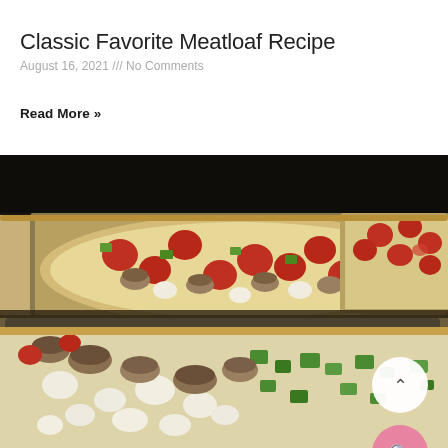Classic Favorite Meatloaf Recipe
August 16, 2021 /// No Comments
Read More »
[Figure (photo): Overhead close-up photograph of unbaked pizzas on baking trays topped with pepperoni, mushrooms, green peppers, onions, and cheese, with two circular UI buttons (scroll-up and search) overlaid in the bottom-right corner.]